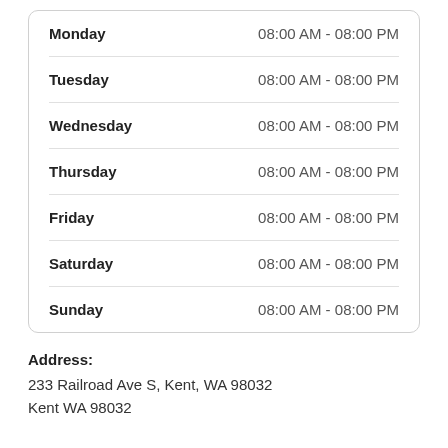| Day | Hours |
| --- | --- |
| Monday | 08:00 AM - 08:00 PM |
| Tuesday | 08:00 AM - 08:00 PM |
| Wednesday | 08:00 AM - 08:00 PM |
| Thursday | 08:00 AM - 08:00 PM |
| Friday | 08:00 AM - 08:00 PM |
| Saturday | 08:00 AM - 08:00 PM |
| Sunday | 08:00 AM - 08:00 PM |
Address:
233 Railroad Ave S, Kent, WA 98032
Kent WA 98032